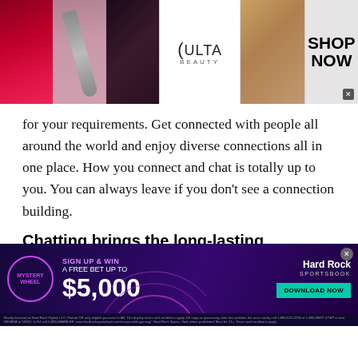[Figure (screenshot): Ulta Beauty advertisement banner with makeup imagery (lips, brush, eye), Ulta Beauty logo in center, and 'SHOP NOW' call to action on right]
for your requirements. Get connected with people all around the world and enjoy diverse connections all in one place. How you connect and chat is totally up to you. You can always leave if you don't see a connection building.
Chatting brings the long-lasting possibility of friendship.
All meaningful things start at unexpected times and places. It said that everything begins with a conversation. Chat rooms are designed to cater to both of these
[Figure (screenshot): Hard Rock Sportsbook advertisement banner with Mystery Wheel promotion - Sign up and win a free bet up to $5,000, with Download Now button and legal fine print]